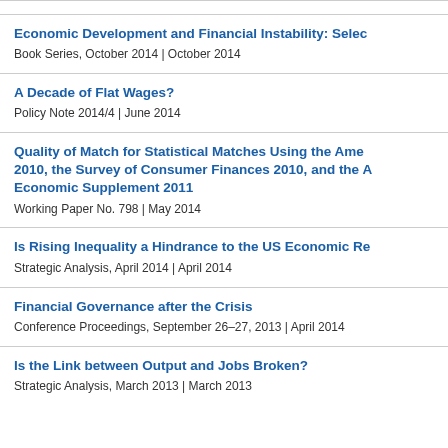Economic Development and Financial Instability: Selec
Book Series, October 2014 | October 2014
A Decade of Flat Wages?
Policy Note 2014/4 | June 2014
Quality of Match for Statistical Matches Using the Ame 2010, the Survey of Consumer Finances 2010, and the A Economic Supplement 2011
Working Paper No. 798 | May 2014
Is Rising Inequality a Hindrance to the US Economic Re
Strategic Analysis, April 2014 | April 2014
Financial Governance after the Crisis
Conference Proceedings, September 26–27, 2013 | April 2014
Is the Link between Output and Jobs Broken?
Strategic Analysis, March 2013 | March 2013